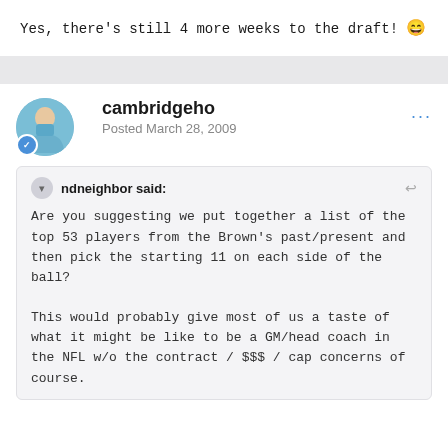Yes, there's still 4 more weeks to the draft! 😄
cambridgeho
Posted March 28, 2009
ndneighbor said:
Are you suggesting we put together a list of the top 53 players from the Brown's past/present and then pick the starting 11 on each side of the ball?

This would probably give most of us a taste of what it might be like to be a GM/head coach in the NFL w/o the contract / $$$ / cap concerns of course.